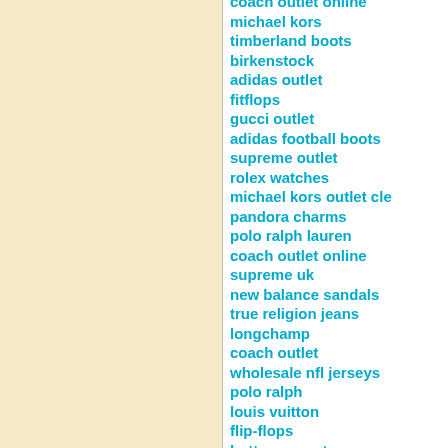coach outlet online
michael kors
timberland boots
birkenstock
adidas outlet
fitflops
gucci outlet
adidas football boots
supreme outlet
rolex watches
michael kors outlet cle
pandora charms
polo ralph lauren
coach outlet online
supreme uk
new balance sandals
true religion jeans
longchamp
coach outlet
wholesale nfl jerseys
polo ralph
louis vuitton
flip-flops
bottega veneta
nike cortez
ray ban
manchester united jers